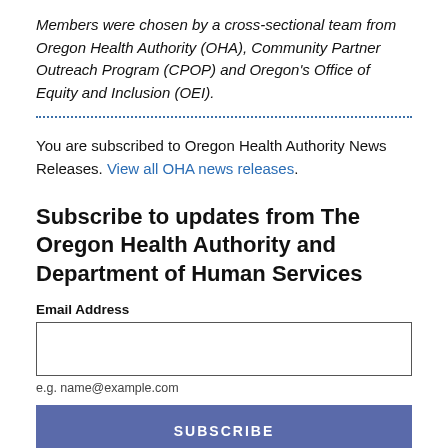Members were chosen by a cross-sectional team from Oregon Health Authority (OHA), Community Partner Outreach Program (CPOP) and Oregon's Office of Equity and Inclusion (OEI).
You are subscribed to Oregon Health Authority News Releases. View all OHA news releases.
Subscribe to updates from The Oregon Health Authority and Department of Human Services
Email Address
e.g. name@example.com
SUBSCRIBE
Share Bulletin